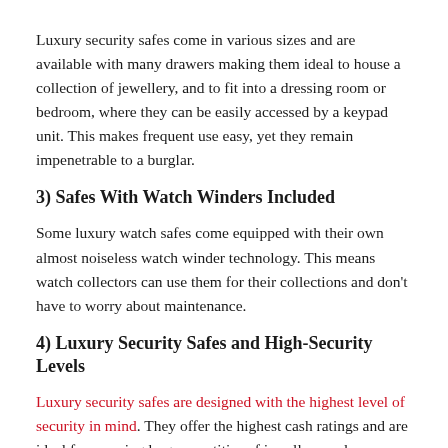Luxury security safes come in various sizes and are available with many drawers making them ideal to house a collection of jewellery, and to fit into a dressing room or bedroom, where they can be easily accessed by a keypad unit. This makes frequent use easy, yet they remain impenetrable to a burglar.
3) Safes With Watch Winders Included
Some luxury watch safes come equipped with their own almost noiseless watch winder technology. This means watch collectors can use them for their collections and don't have to worry about maintenance.
4) Luxury Security Safes and High-Security Levels
Luxury security safes are designed with the highest level of security in mind. They offer the highest cash ratings and are ideal for securing large quantities of jewellery and valuables.